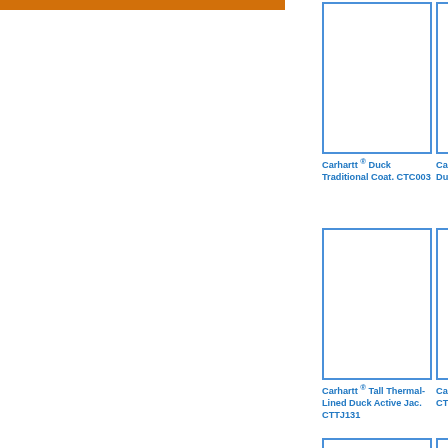[Figure (other): Orange decorative bar at top left]
[Figure (photo): Product image placeholder - Carhartt Duck Traditional Coat CTC003]
Carhartt ® Duck Traditional Coat. CTC003
[Figure (photo): Product image placeholder - Carhartt Thermal-Lined Duck Active Jac CTJ131]
Carhartt ® Thermal-Lined Duck Active Jac. CTJ131
[Figure (photo): Man wearing green/olive jacket - Carhartt jacket product photo]
Carhartt ® Jacket. CT...
[Figure (photo): Product image placeholder - Carhartt Tall Thermal-Lined Duck Active Jac CTTJ131]
Carhartt ® Tall Thermal-Lined Duck Active Jac. CTTJ131
[Figure (photo): Product image placeholder - Carhartt Duck Vest CTV01]
Carhartt ® Duck Vest. CTV01
[Figure (photo): Product image placeholder - Port Authority Heather Microfleece Full-Zip Jacket]
Port Authority Heather Mi... Full-Zip Ja...
[Figure (photo): Row 3 col 1 product placeholder]
[Figure (photo): Row 3 col 2 product placeholder]
[Figure (photo): Row 3 col 3 product placeholder]